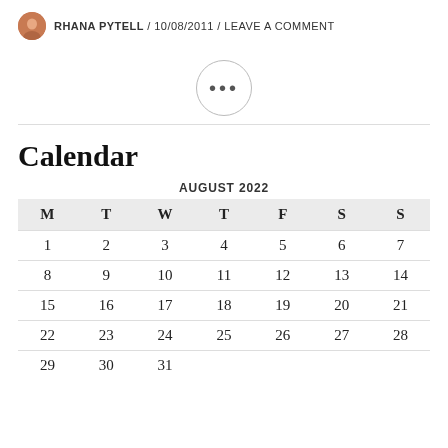RHANA PYTELL / 10/08/2011 / LEAVE A COMMENT
[Figure (other): Circular button with ellipsis (three dots) icon]
Calendar
| M | T | W | T | F | S | S |
| --- | --- | --- | --- | --- | --- | --- |
| 1 | 2 | 3 | 4 | 5 | 6 | 7 |
| 8 | 9 | 10 | 11 | 12 | 13 | 14 |
| 15 | 16 | 17 | 18 | 19 | 20 | 21 |
| 22 | 23 | 24 | 25 | 26 | 27 | 28 |
| 29 | 30 | 31 |  |  |  |  |